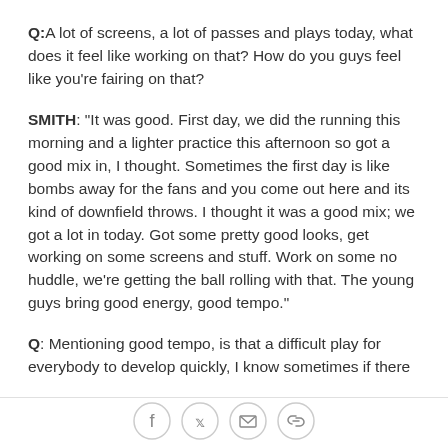Q: A lot of screens, a lot of passes and plays today, what does it feel like working on that? How do you guys feel like you're fairing on that?
SMITH: "It was good. First day, we did the running this morning and a lighter practice this afternoon so got a good mix in, I thought. Sometimes the first day is like bombs away for the fans and you come out here and its kind of downfield throws. I thought it was a good mix; we got a lot in today. Got some pretty good looks, get working on some screens and stuff. Work on some no huddle, we're getting the ball rolling with that. The young guys bring good energy, good tempo."
Q: Mentioning good tempo, is that a difficult play for everybody to develop quickly, I know sometimes if there
[Figure (other): Social media share icons: Facebook, Twitter, Email, Link]